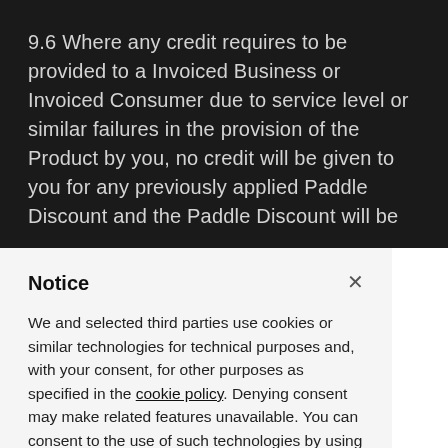9.6 Where any credit requires to be provided to a Invoiced Business or Invoiced Consumer due to service level or similar failures in the provision of the Product by you, no credit will be given to you for any previously applied Paddle Discount and the Paddle Discount will be
Notice
We and selected third parties use cookies or similar technologies for technical purposes and, with your consent, for other purposes as specified in the cookie policy. Denying consent may make related features unavailable. You can consent to the use of such technologies by using the “Accept” button or by closing this notice.
Accept
Learn more and customize